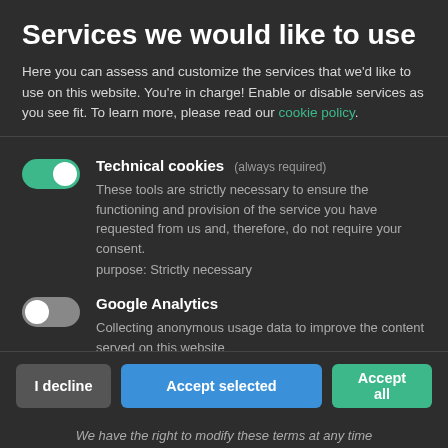Services we would like to use
Here you can assess and customize the services that we'd like to use on this website. You're in charge! Enable or disable services as you see fit. To learn more, please read our cookie policy.
Technical cookies (always required)
These tools are strictly necessary to ensure the functioning and provision of the service you have requested from us and, therefore, do not require your consent.
purpose: Strictly necessary
Google Analytics
Collecting anonymous usage data to improve the content served on this website
purpose: Statistics
I decline | Accept selected | Accept all
We have the right to modify these terms at any time